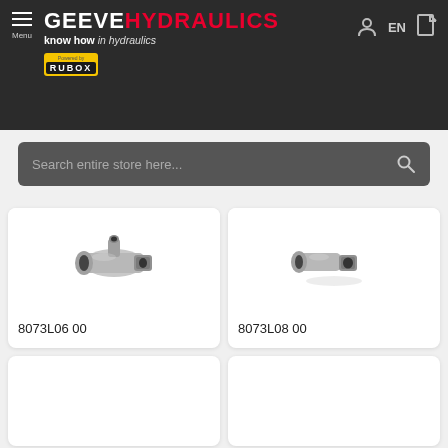GEEVE HYDRAULICS – know how in hydraulics
Search entire store here...
[Figure (photo): Hydraulic T-fitting / connector product photo, silver metal, part 8073L06 00]
8073L06 00
[Figure (photo): Hydraulic elbow fitting / connector product photo, silver metal, part 8073L08 00]
8073L08 00
[Figure (photo): Product card – bottom left, empty/loading]
[Figure (photo): Product card – bottom right, empty/loading]